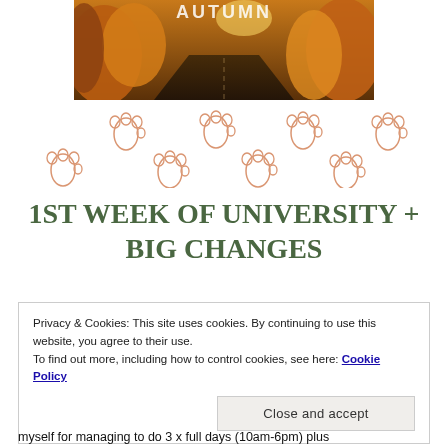[Figure (photo): Autumn scene with orange/golden foliage trees along a road, with text 'AUTUMN' visible at the top in white letters]
[Figure (illustration): Eight bear/animal paw prints arranged in two staggered rows, drawn in orange outline style]
1ST WEEK OF UNIVERSITY + BIG CHANGES
Privacy & Cookies: This site uses cookies. By continuing to use this website, you agree to their use.
To find out more, including how to control cookies, see here: Cookie Policy
Close and accept
myself for managing to do 3 x full days (10am-6pm) plus